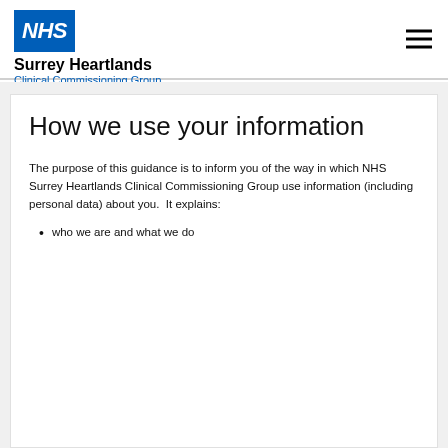NHS Surrey Heartlands Clinical Commissioning Group
How we use your information
The purpose of this guidance is to inform you of the way in which NHS Surrey Heartlands Clinical Commissioning Group use information (including personal data) about you.  It explains:
who we are and what we do